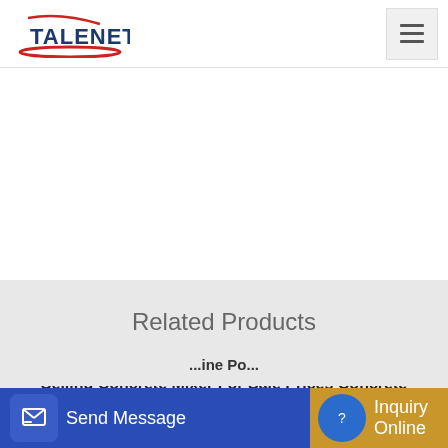TALENET
Related Products
Selling Concrete Mixer For Sale Prices Concrete Mixer Truck
China 120m3 H Concrete Mixing Batching Plant
...ine Po...
Send Message
Inquiry Online